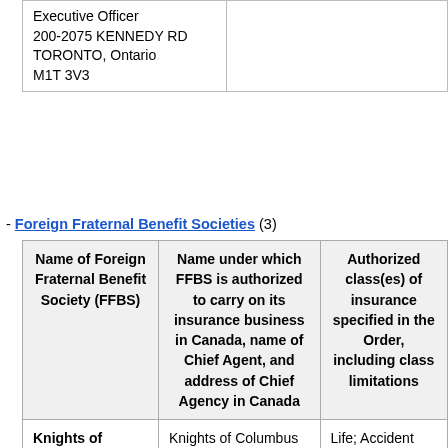| Executive Officer
200-2075 KENNEDY RD
TORONTO, Ontario
M1T 3V3 |  |
- Foreign Fraternal Benefit Societies (3)
| Name of Foreign Fraternal Benefit Society (FFBS) | Name under which FFBS is authorized to carry on its insurance business in Canada, name of Chief Agent, and address of Chief Agency in Canada | Authorized class(es) of insurance specified in the Order, including class limitations |
| --- | --- | --- |
| Knights of Columbus | Knights of Columbus
Brian M. Kehoe
Chief Agent | Life; Accident and sickness. |